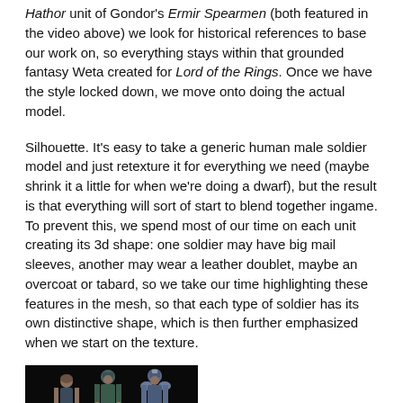Hathor unit of Gondor's Ermir Spearmen (both featured in the video above) we look for historical references to base our work on, so everything stays within that grounded fantasy Weta created for Lord of the Rings. Once we have the style locked down, we move onto doing the actual model.
Silhouette. It's easy to take a generic human male soldier model and just retexture it for everything we need (maybe shrink it a little for when we're doing a dwarf), but the result is that everything will sort of start to blend together ingame. To prevent this, we spend most of our time on each unit creating its 3d shape: one soldier may have big mail sleeves, another may wear a leather doublet, maybe an overcoat or tabard, so we take our time highlighting these features in the mesh, so that each type of soldier has its own distinctive shape, which is then further emphasized when we start on the texture.
[Figure (photo): Three 3D character models of soldiers shown in a T-pose against a black background, each with distinctive silhouettes and armor/clothing styles representing different Fiefdom units.]
Example of different silhouettes in similar units: each Fiefdom unit above has a distinctive helmet and other mesh features. Models are